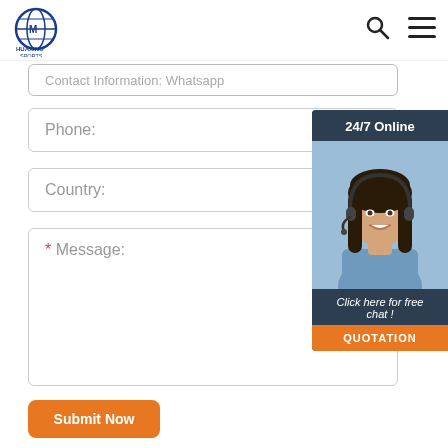[Figure (logo): Huaxing Sports logo, blue globe icon with company name]
Contact information: Whatsapp
Phone:
Country:
* Message:
[Figure (photo): 24/7 Online chat widget showing a smiling female customer service representative wearing a headset, with dark navy background, 'Click here for free chat!' text, and orange QUOTATION button]
Submit Now
[Figure (photo): Partial view of sports product (orange and black) at bottom of page]